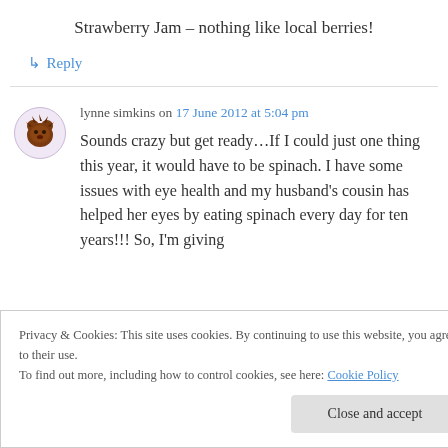Strawberry Jam – nothing like local berries!
↳ Reply
lynne simkins on 17 June 2012 at 5:04 pm
Sounds crazy but get ready…If I could just one thing this year, it would have to be spinach. I have some issues with eye health and my husband's cousin has helped her eyes by eating spinach every day for ten years!!! So, I'm giving
Privacy & Cookies: This site uses cookies. By continuing to use this website, you agree to their use.
To find out more, including how to control cookies, see here: Cookie Policy
Close and accept